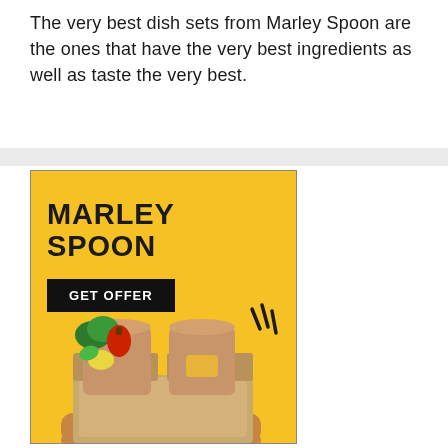The very best dish sets from Marley Spoon are the ones that have the very best ingredients as well as taste the very best.
[Figure (illustration): Marley Spoon advertisement banner with yellow background showing the Marley Spoon logo in bold black uppercase text, a black 'GET OFFER' button, decorative tick marks, and an illustration of hands holding an open cardboard box containing brown paper bags and fresh vegetables including broccoli, peppers, and citrus.]